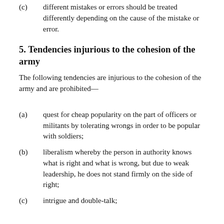(c) different mistakes or errors should be treated differently depending on the cause of the mistake or error.
5. Tendencies injurious to the cohesion of the army
The following tendencies are injurious to the cohesion of the army and are prohibited—
(a) quest for cheap popularity on the part of officers or militants by tolerating wrongs in order to be popular with soldiers;
(b) liberalism whereby the person in authority knows what is right and what is wrong, but due to weak leadership, he does not stand firmly on the side of right;
(c) intrigue and double-talk;